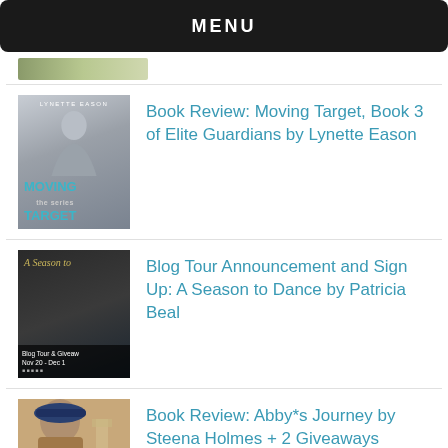MENU
[Figure (photo): Partial top crop of a book cover image (green/muted tones)]
[Figure (photo): Book cover: Moving Target by Lynette Eason — woman with long hair on grey background, teal title text]
Book Review: Moving Target, Book 3 of Elite Guardians by Lynette Eason
[Figure (photo): Book cover: A Season to Dance blog tour and giveaway, Nov 20 - Dec 1 — dark background with gold italic title]
Blog Tour Announcement and Sign Up: A Season to Dance by Patricia Beal
[Figure (photo): Book cover: Abby's Journey by Steena Holmes — woman in blue hat with city background, white bold title]
Book Review: Abby*s Journey by Steena Holmes + 2 Giveaways